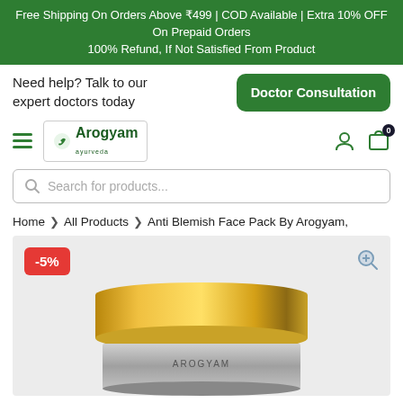Free Shipping On Orders Above ₹499 | COD Available | Extra 10% OFF On Prepaid Orders
100% Refund, If Not Satisfied From Product
Need help? Talk to our expert doctors today
Doctor Consultation
[Figure (logo): Arogyam Ayurveda logo with leaf icon and brand name]
Search for products...
Home > All Products > Anti Blemish Face Pack By Arogyam,
[Figure (photo): Product photo of Anti Blemish Face Pack by Arogyam in a gold metallic round jar, with a -5% discount badge in red at top left and a zoom/search icon at top right, on a light grey background]